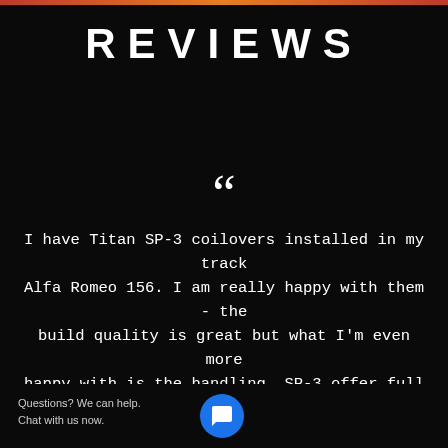REVIEWS
“
I have Titan SP-3 coilovers installed in my track Alfa Romeo 156. I am really happy with them - the build quality is great but what I'm even more happy with is the handling. SP-3 offer full control of the car at high speeds, fast and slow corners, not only on smooth parts of the track but in a uneven parts too. However, these coilovers also сoad compliance for your daily duties.
Questions? We can help.
Chat with us now.